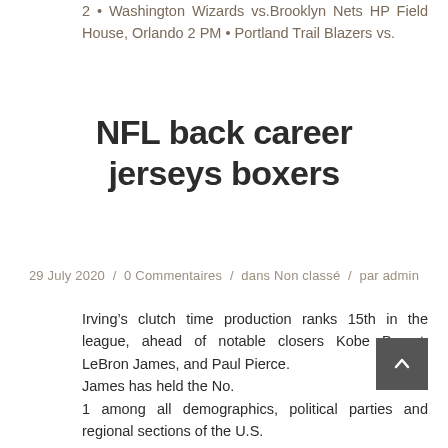2 • Washington Wizards vs.Brooklyn Nets HP Field House, Orlando 2 PM • Portland Trail Blazers vs.
NFL back career jerseys boxers
29 July 2020 / 0 Commentaires / dans Non classé / par admin
Irving's clutch time production ranks 15th in the league, ahead of notable closers Kobe Bryant, LeBron James, and Paul Pierce.
James has held the No.
1 among all demographics, political parties and regional sections of the U.S.
Phoenix Suns Visa Athletic Center, Orlando 9 PM • Christian McCaffery, Carolina Panthers 99 • Derrick